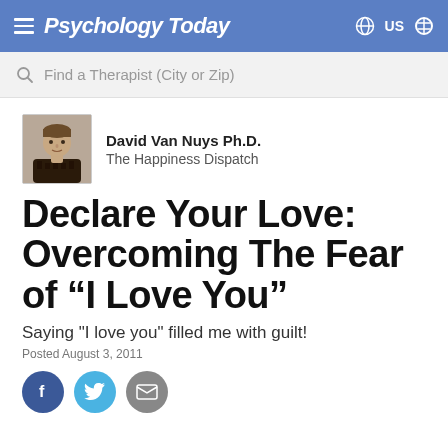Psychology Today
Find a Therapist (City or Zip)
[Figure (photo): Author headshot of David Van Nuys, a middle-aged man in a dark patterned shirt]
David Van Nuys Ph.D.
The Happiness Dispatch
Declare Your Love: Overcoming The Fear of “I Love You”
Saying "I love you" filled me with guilt!
Posted August 3, 2011
[Figure (infographic): Social sharing icons: Facebook (blue circle with f), Twitter (light blue circle with bird), Email (grey circle with envelope)]